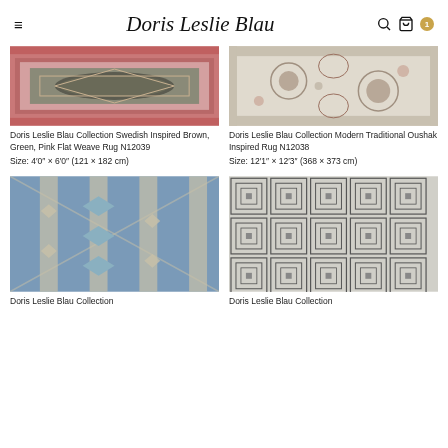≡  Doris Leslie Blau  🔍 🛒 1
[Figure (photo): Doris Leslie Blau Collection Swedish Inspired Brown, Green, Pink Flat Weave Rug N12039 — close-up of rug with pink tones and geometric diamond pattern]
Doris Leslie Blau Collection Swedish Inspired Brown, Green, Pink Flat Weave Rug N12039
Size: 4′0″ × 6′0″ (121 × 182 cm)
[Figure (photo): Doris Leslie Blau Collection Modern Traditional Oushak Inspired Rug N12038 — close-up of rug with cream, blue and floral pattern]
Doris Leslie Blau Collection Modern Traditional Oushak Inspired Rug N12038
Size: 12′1″ × 12′3″ (368 × 373 cm)
[Figure (photo): Doris Leslie Blau Collection rug — blue geometric kilim pattern with diamond shapes and vertical stripes]
Doris Leslie Blau Collection
[Figure (photo): Doris Leslie Blau Collection rug — grey maze/labyrinth square repeat pattern]
Doris Leslie Blau Collection